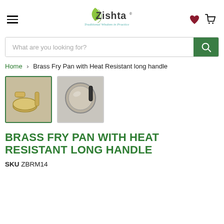Zishta — Traditional Wisdom in Practice
What are you looking for?
Home > Brass Fry Pan with Heat Resistant long handle
[Figure (photo): Two thumbnail images of a brass fry pan. First thumbnail shows the pan with a brass handle and small vessel. Second thumbnail shows top-down view of the pan interior.]
BRASS FRY PAN WITH HEAT RESISTANT LONG HANDLE
SKU ZBRM14